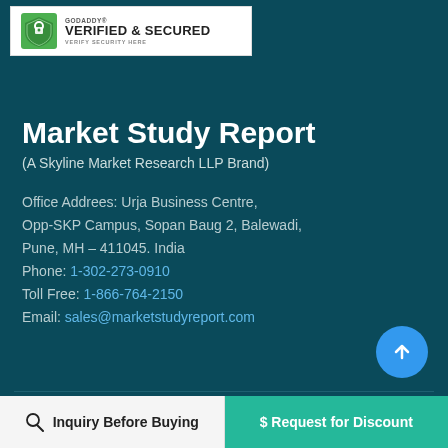[Figure (logo): GoDaddy Verified & Secured badge with green shield lock icon]
Market Study Report
(A Skyline Market Research LLP Brand)
Office Addrees: Urja Business Centre, Opp-SKP Campus, Sopan Baug 2, Balewadi, Pune, MH - 411045. India
Phone: 1-302-273-0910
Toll Free: 1-866-764-2150
Email: sales@marketstudyreport.com
Inquiry Before Buying
$ Request for Discount